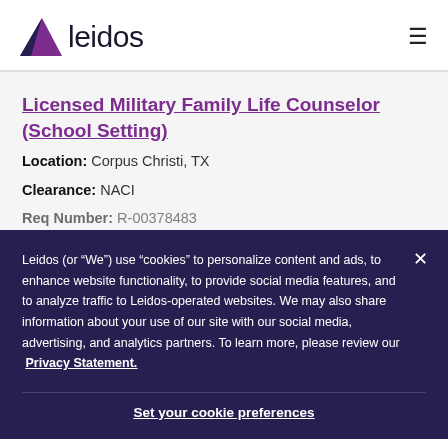leidos
Licensed Military Family Life Counselor (School Setting)
Location: Corpus Christi, TX
Clearance: NACI
Req Number: R-00378483
Leidos (or “We”) use “cookies” to personalize content and ads, to enhance website functionality, to provide social media features, and to analyze traffic to Leidos-operated websites. We may also share information about your use of our site with our social media, advertising, and analytics partners. To learn more, please review our Privacy Statement.
Set your cookie preferences